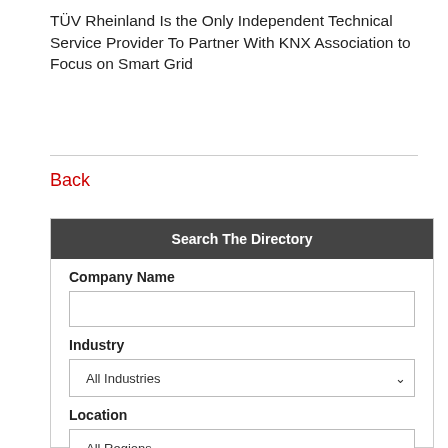TÜV Rheinland Is the Only Independent Technical Service Provider To Partner With KNX Association to Focus on Smart Grid
Back
Search The Directory
Company Name
Industry
All Industries
Location
All Regions
Sector